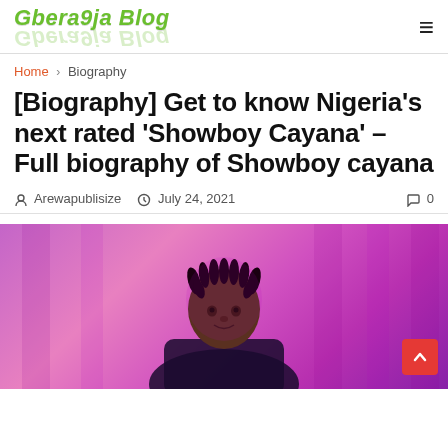Gbera9ja Blog
Home > Biography
[Biography] Get to know Nigeria's next rated 'Showboy Cayana' – Full biography of Showboy cayana
Arewapublisize   July 24, 2021   0
[Figure (photo): Photo of Showboy Cayana against a pink/purple background with curtain-like elements]